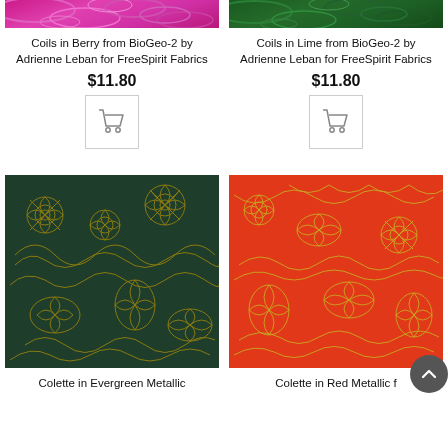[Figure (photo): Close-up of pink/berry coil pattern fabric from BioGeo-2 collection]
[Figure (photo): Close-up of lime/green coil pattern fabric from BioGeo-2 collection]
Coils in Berry from BioGeo-2 by Adrienne Leban for FreeSpirit Fabrics
Coils in Lime from BioGeo-2 by Adrienne Leban for FreeSpirit Fabrics
$11.80
$11.80
[Figure (illustration): Shopping cart icon button]
[Figure (illustration): Shopping cart icon button]
[Figure (photo): Dark green fabric with gold metallic floral pattern - Colette in Evergreen Metallic]
[Figure (photo): Red/orange fabric with gold metallic pattern - Colette in Red Metallic]
Colette in Evergreen Metallic
Colette in Red Metallic f